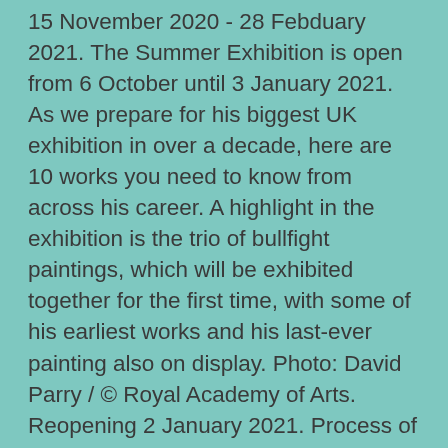15 November 2020 - 28 Febduary 2021. The Summer Exhibition is open from 6 October until 3 January 2021. As we prepare for his biggest UK exhibition in over a decade, here are 10 works you need to know from across his career. A highlight in the exhibition is the trio of bullfight paintings, which will be exhibited together for the first time, with some of his earliest works and his last-ever painting also on display. Photo: David Parry / © Royal Academy of Arts. Reopening 2 January 2021. Process of Entry. ORA provides exceptional academic and cultural experiences for students aged 8 to 19+. Photo: David Parry. Perhaps best-known for his 200-tonne Angel of the North installation near Gateshead, and his project involving 2,400 members of the public for Trafalgar Square's the Fourth Plinth, Antony Gormley is one of the UK's most celebrated sculptors. Founded in 1768, this is the world's foremost artist- and architect-led institution and the country's oldest society concerned solely with the fine arts. Limited to 12,000 total entries (yep, they all filled up!) The